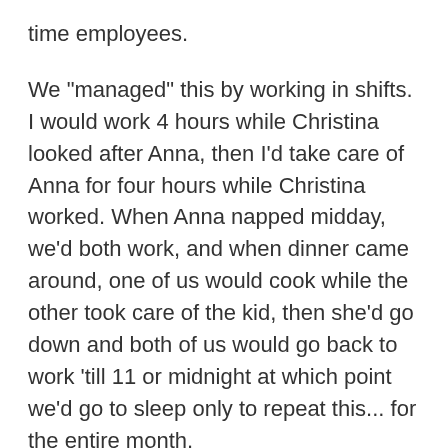time employees.
We "managed" this by working in shifts. I would work 4 hours while Christina looked after Anna, then I'd take care of Anna for four hours while Christina worked. When Anna napped midday, we'd both work, and when dinner came around, one of us would cook while the other took care of the kid, then she'd go down and both of us would go back to work 'till 11 or midnight at which point we'd go to sleep only to repeat this... for the entire month.
I won't complain though. It was hard, but at least we remained employed through the fortune of having remote-friendly work. I know that a lot of people in this country were looking down the barrel of no income and substantial rent to pay, so I know that we've been very fortunate.